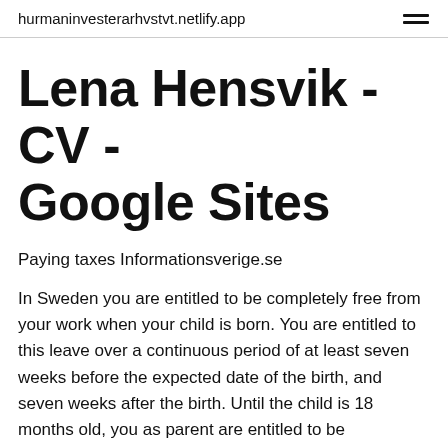hurmaninvesterarhvstvt.netlify.app
Lena Hensvik - CV - Google Sites
Paying taxes Informationsverige.se
In Sweden you are entitled to be completely free from your work when your child is born. You are entitled to this leave over a continuous period of at least seven weeks before the expected date of the birth, and seven weeks after the birth. Until the child is 18 months old, you as parent are entitled to be